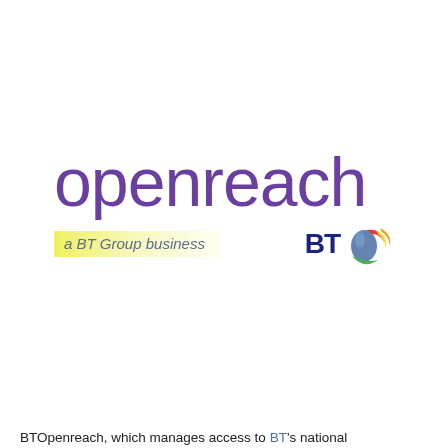[Figure (logo): Openreach logo — large purple lowercase 'openreach' wordmark, yellow gradient tagline banner reading 'a BT Group business', and the BT logo (dark blue 'BT' letters with colorful sphere icon) to the right]
BTOpenreach, which manages access to BT's national